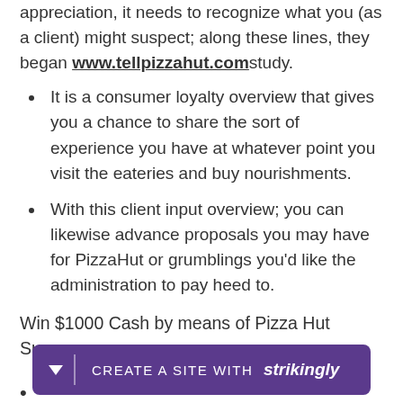appreciation, it needs to recognize what you (as a client) might suspect; along these lines, they began www.tellpizzahut.com study.
It is a consumer loyalty overview that gives you a chance to share the sort of experience you have at whatever point you visit the eateries and buy nourishments.
With this client input overview; you can likewise advance proposals you may have for PizzaHut or grumblings you'd like the administration to pay heed to.
Win $1000 Cash by means of Pizza Hut Survey
[Figure (other): Purple banner with down arrow, divider, and text 'CREATE A SITE WITH strikingly']